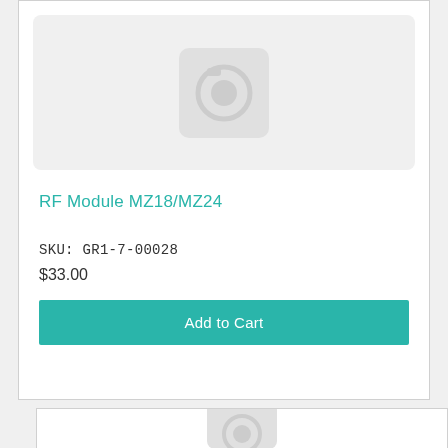[Figure (photo): Product image placeholder (camera icon) for RF Module MZ18/MZ24]
RF Module MZ18/MZ24
SKU: GR1-7-00028
$33.00
Add to Cart
[Figure (photo): Product image placeholder (camera icon) for second product card, partially visible]